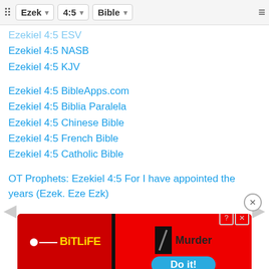Ezek | 4:5 | Bible
Ezekiel 4:5 ESV
Ezekiel 4:5 NASB
Ezekiel 4:5 KJV
Ezekiel 4:5 BibleApps.com
Ezekiel 4:5 Biblia Paralela
Ezekiel 4:5 Chinese Bible
Ezekiel 4:5 French Bible
Ezekiel 4:5 Catholic Bible
OT Prophets: Ezekiel 4:5 For I have appointed the years (Ezek. Eze Ezk)
[Figure (screenshot): BitLife advertisement banner showing red background with BitLife logo, sperm icon, Murder text and Do it! button]